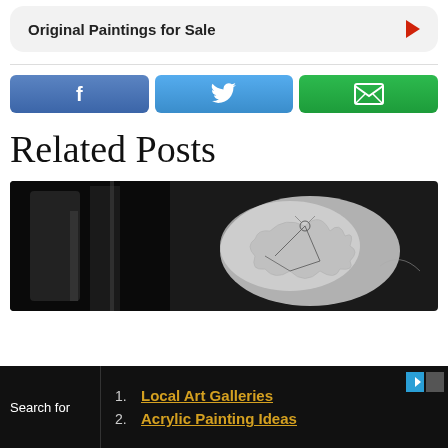Original Paintings for Sale
[Figure (screenshot): Social sharing buttons: Facebook (blue), Twitter (light blue), Email (green)]
Related Posts
[Figure (photo): Black and white close-up photo of a tattoo on skin, showing an artistic line drawing]
Search for
1. Local Art Galleries
2. Acrylic Painting Ideas